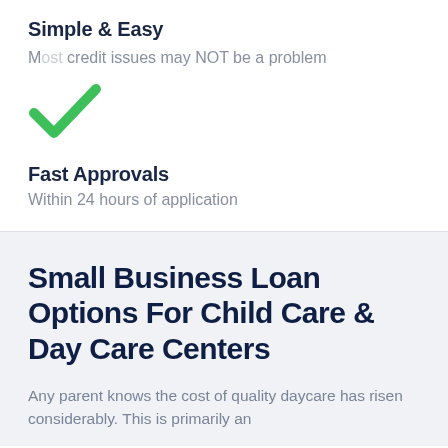Simple & Easy
Most credit issues may NOT be a problem
[Figure (illustration): Green checkmark icon]
Fast Approvals
Within 24 hours of application
Small Business Loan Options For Child Care & Day Care Centers
Any parent knows the cost of quality daycare has risen considerably. This is primarily an